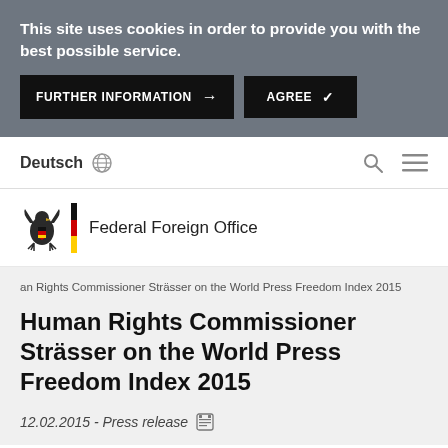This site uses cookies in order to provide you with the best possible service.
FURTHER INFORMATION → AGREE ✓
Deutsch
[Figure (logo): Federal Foreign Office eagle logo with German flag stripe and text 'Federal Foreign Office']
an Rights Commissioner Strässer on the World Press Freedom Index 2015
Human Rights Commissioner Strässer on the World Press Freedom Index 2015
12.02.2015 - Press release